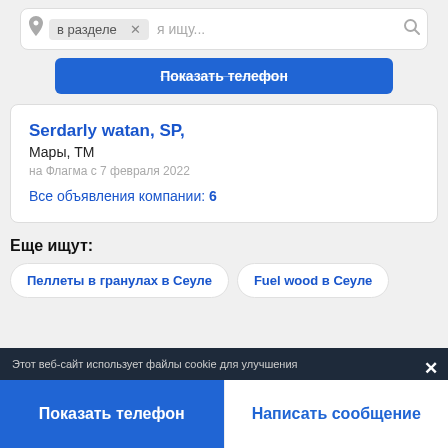[Figure (screenshot): Search bar with location pin icon, 'в разделе' tag with X, placeholder text 'я ищу...' and search icon]
Показать телефон
Serdarly watan, SP,
Мары, ТМ
на Флагма с 7 февраля 2022
Все объявления компании: 6
Еще ищут:
Пеллеты в гранулах в Сеуле
Fuel wood в Сеуле
Этот веб-сайт использует файлы cookie для улучшения
Показать телефон
Написать сообщение